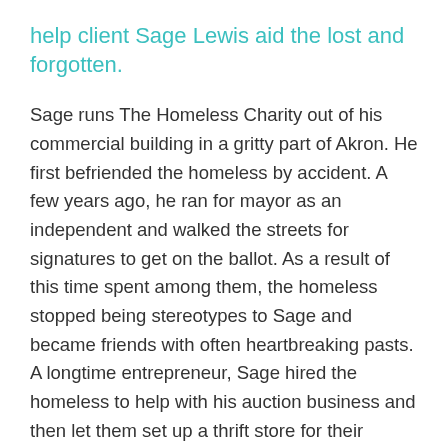help client Sage Lewis aid the lost and forgotten.
Sage runs The Homeless Charity out of his commercial building in a gritty part of Akron. He first befriended the homeless by accident. A few years ago, he ran for mayor as an independent and walked the streets for signatures to get on the ballot. As a result of this time spent among them, the homeless stopped being stereotypes to Sage and became friends with often heartbreaking pasts. A longtime entrepreneur, Sage hired the homeless to help with his auction business and then let them set up a thrift store for their benefit to peddle unsold items.